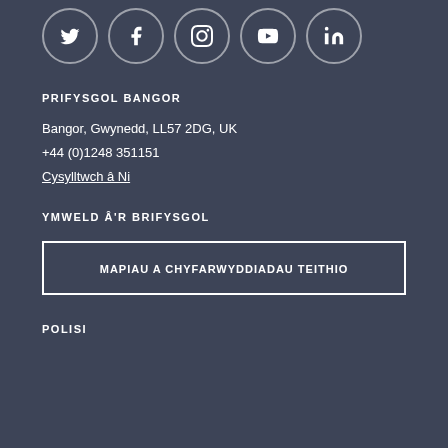[Figure (other): Row of social media icons: Twitter, Facebook, Instagram, YouTube, LinkedIn — each in a circle outline]
PRIFYSGOL BANGOR
Bangor, Gwynedd, LL57 2DG, UK
+44 (0)1248 351151
Cysylltwch â Ni
YMWELD Â'R BRIFYSGOL
MAPIAU A CHYFARWYDDIADAU TEITHIO
POLISI